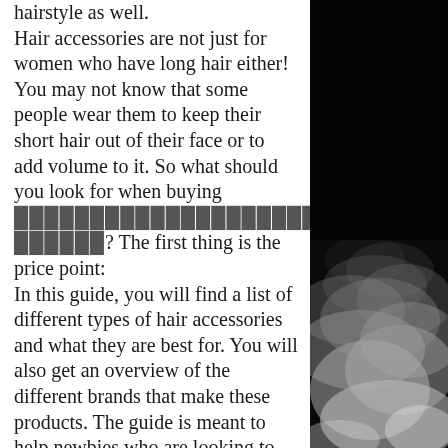hairstyle as well.
Hair accessories are not just for women who have long hair either! You may not know that some people wear them to keep their short hair out of their face or to add volume to it. So what should you look for when buying [redacted link]? The first thing is the price point:
In this guide, you will find a list of different types of hair accessories and what they are best for. You will also get an overview of the different brands that make these products. The guide is meant to help newbies who are looking to buy their first hair accessory. It should be noted that there is no such thing as a one-size-fits-all type of product when it comes to hair accessories.
Buying the right hair accessory for your needs can be challenging and time consuming, especially if you're new to the world of hair accessories. However, with this guide in hand, you'll be able to find the perfect fit without too much hassle!
[Figure (photo): Black and white photo of smoke or mist against a dark background, visible in the right column of the page]